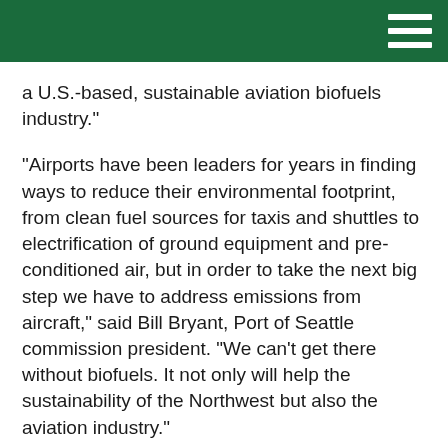a U.S.-based, sustainable aviation biofuels industry."
"Airports have been leaders for years in finding ways to reduce their environmental footprint, from clean fuel sources for taxis and shuttles to electrification of ground equipment and pre-conditioned air, but in order to take the next big step we have to address emissions from aircraft," said Bill Bryant, Port of Seattle commission president. "We can't get there without biofuels. It not only will help the sustainability of the Northwest but also the aviation industry."
"WSU will combine our world-class biofuel and agricultural researchers along with significant institutional assets to leverage the Northwest's